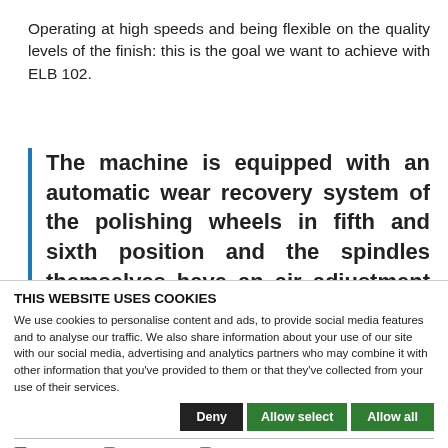Operating at high speeds and being flexible on the quality levels of the finish: this is the goal we want to achieve with ELB 102.
The machine is equipped with an automatic wear recovery system of the polishing wheels in fifth and sixth position and the spindles themselves have an air adjustment system to
THIS WEBSITE USES COOKIES
We use cookies to personalise content and ads, to provide social media features and to analyse our traffic. We also share information about your use of our site with our social media, advertising and analytics partners who may combine it with other information that you've provided to them or that they've collected from your use of their services.
Deny | Allow select | Allow all
Necessary  Preferences  Statistics  Marketing  Show details